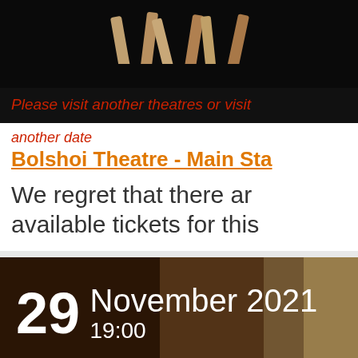[Figure (photo): Dark stage photo showing ballet dancer legs/feet from below against black background]
Please visit another theatres or visit
another date
Bolshoi Theatre - Main Sta
We regret that there are no available tickets for this
[Figure (photo): Dark brownish theatre interior image with date overlay: 29 November 2021 19:00]